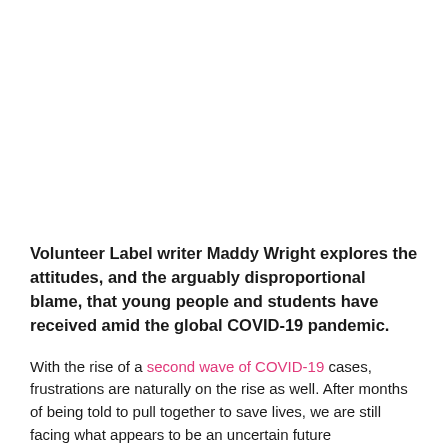Volunteer Label writer Maddy Wright explores the attitudes, and the arguably disproportional blame, that young people and students have received amid the global COVID-19 pandemic.
With the rise of a second wave of COVID-19 cases, frustrations are naturally on the rise as well. After months of being told to pull together to save lives, we are still facing what appears to be an uncertain future